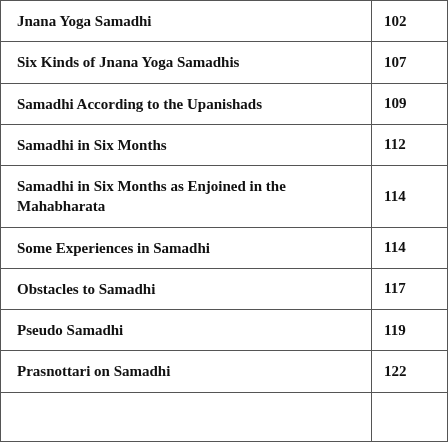| Title | Page |
| --- | --- |
| Jnana Yoga Samadhi | 102 |
| Six Kinds of Jnana Yoga Samadhis | 107 |
| Samadhi According to the Upanishads | 109 |
| Samadhi in Six Months | 112 |
| Samadhi in Six Months as Enjoined in the Mahabharata | 114 |
| Some Experiences in Samadhi | 114 |
| Obstacles to Samadhi | 117 |
| Pseudo Samadhi | 119 |
| Prasnottari on Samadhi | 122 |
|  |  |